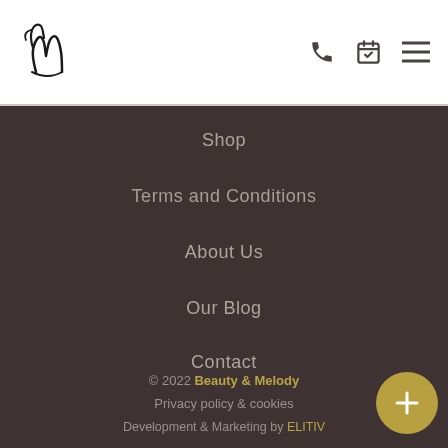[Figure (logo): Beauty & Melody handwritten script logo]
Shop
Terms and Conditions
About Us
Our Blog
Contact
© 2022 Beauty & Melody
Privacy policy & cookies
Development & Marketing by ELITIV